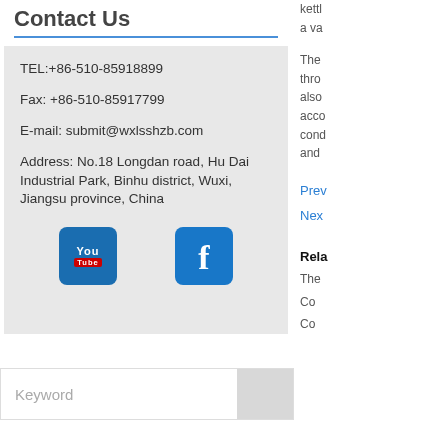Contact Us
TEL:+86-510-85918899
Fax: +86-510-85917799
E-mail: submit@wxlsshzb.com
Address: No.18 Longdan road, Hu Dai Industrial Park, Binhu district, Wuxi, Jiangsu province, China
[Figure (logo): YouTube icon button]
[Figure (logo): Facebook icon button]
Keyword
kettle
a va
The
thro
also
acco
cond
and
Prev
Next
Rela
The
Co
Co